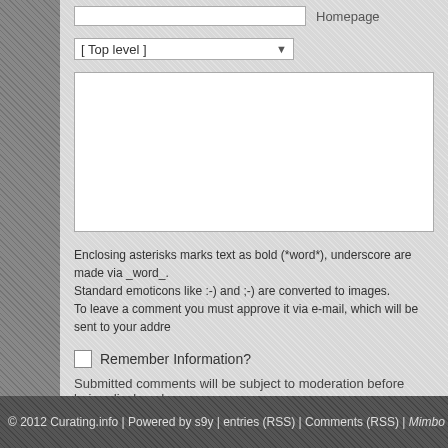[Figure (screenshot): Web form partial view showing Homepage input field at top]
[ Top level ]  ▾
Enclosing asterisks marks text as bold (*word*), underscore are made via _word_. Standard emoticons like :-) and ;-) are converted to images. To leave a comment you must approve it via e-mail, which will be sent to your addre...
Remember Information?
Submitted comments will be subject to moderation before being displayed.
Submit Comment
Preview
© 2012 Curating.info | Powered by s9y | entries (RSS) | Comments (RSS) | Mimbo theme |